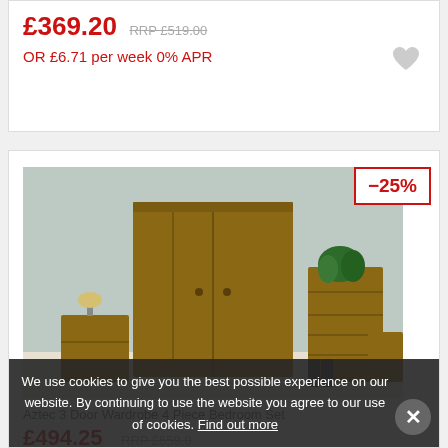£369.20 RRP £519.00
OR £6.71 per week 0% APR
[Figure (photo): Aztec 3 Door Wardrobe 4 Piece Bedroom Set in rustic pine wood, showing wardrobe, chest of drawers, and bedside table against floral wallpaper]
-25%
Aztec 3 Door Wardrobe 4 Piece Bedroom Set
£494.25 RRP £659.0
We use cookies to give you the best possible experience on our website. By continuing to use the website you agree to our use of cookies. Find out more